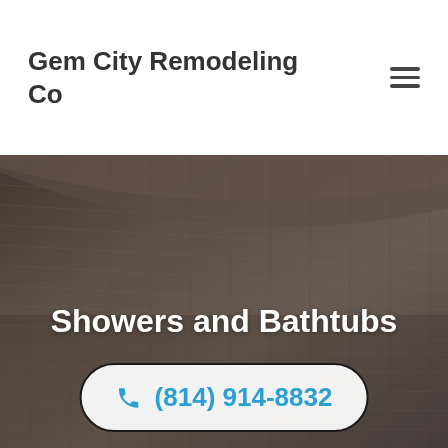Gem City Remodeling Co
[Figure (other): Hamburger menu icon (three horizontal lines)]
[Figure (photo): Hero background image of wood grain / bathroom surface texture in dark brown and grey tones]
Showers and Bathtubs
(814) 914-8832